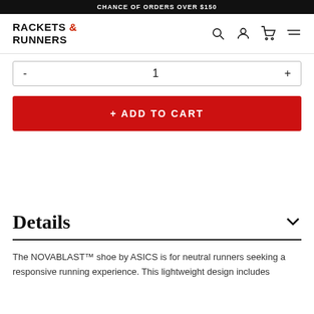CHANCE OF ORDERS OVER $150
RACKETS & RUNNERS
- 1 +
+ ADD TO CART
Details
The NOVABLAST™ shoe by ASICS is for neutral runners seeking a responsive running experience. This lightweight design includes